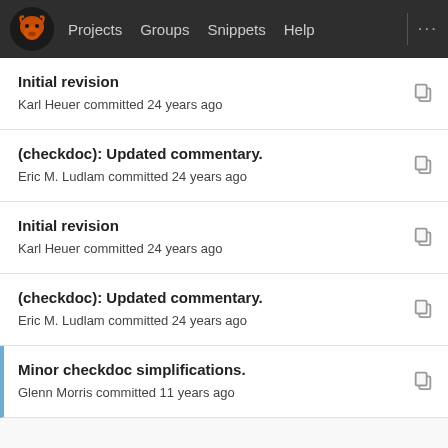Projects  Groups  Snippets  Help  ...
Initial revision
Karl Heuer committed 24 years ago
(checkdoc): Updated commentary.
Eric M. Ludlam committed 24 years ago
Initial revision
Karl Heuer committed 24 years ago
(checkdoc): Updated commentary.
Eric M. Ludlam committed 24 years ago
Minor checkdoc simplifications.
Glenn Morris committed 11 years ago
Initial revision
Karl Heuer committed 24 years ago